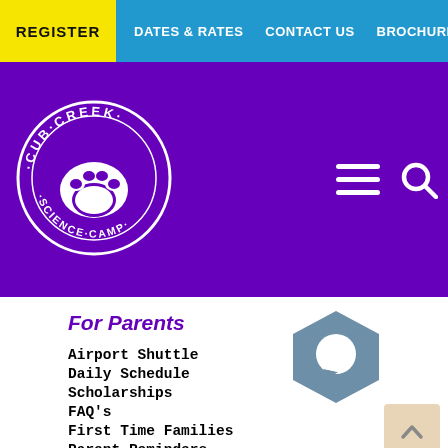REGISTER | DATES & RATES | CONTACT US | BROCHURE | (573) 458-2125
[Figure (logo): Cub Creek Science Camp circular logo in white on purple background with paw print]
For Parents
Airport Shuttle
Daily Schedule
Scholarships
FAQ's
First Time Families
Parent Reminders
Packing List
Policies/ Paperwork / Payments
Lost & Found
Camper Correspondence
Register
[Figure (illustration): Blue hexagon chat bubble icon]